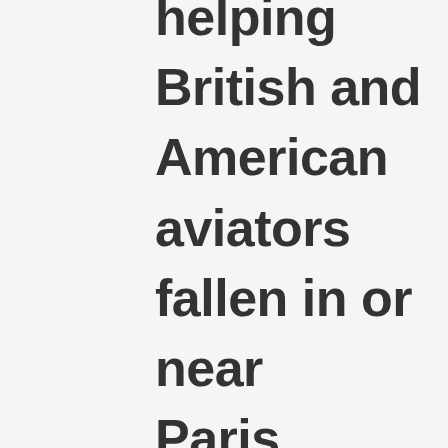helping British and American aviators fallen in or near Paris.  Several of them have come to our house and stayed with us to our great joy.  But they had to change lodgings every second day at least and the children were busily employed finding hospitable friends who